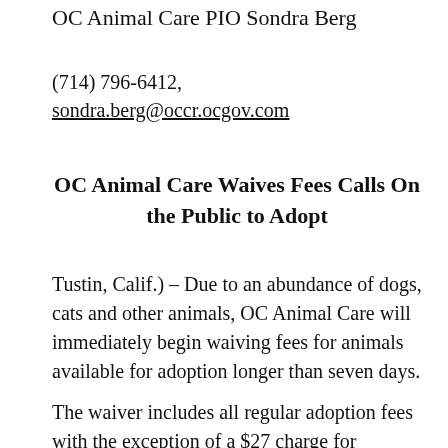OC Animal Care PIO Sondra Berg
(714) 796-6412,
sondra.berg@occr.ocgov.com
OC Animal Care Waives Fees Calls On the Public to Adopt
Tustin, Calif.) – Due to an abundance of dogs, cats and other animals, OC Animal Care will immediately begin waiving fees for animals available for adoption longer than seven days.
The waiver includes all regular adoption fees with the exception of a $27 charge for